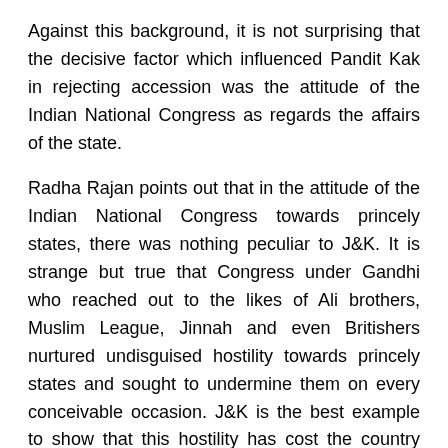Against this background, it is not surprising that the decisive factor which influenced Pandit Kak in rejecting accession was the attitude of the Indian National Congress as regards the affairs of the state.
Radha Rajan points out that in the attitude of the Indian National Congress towards princely states, there was nothing peculiar to J&K. It is strange but true that Congress under Gandhi who reached out to the likes of Ali brothers, Muslim League, Jinnah and even Britishers nurtured undisguised hostility towards princely states and sought to undermine them on every conceivable occasion. J&K is the best example to show that this hostility has cost the country dearly.
The issue of accession came up again on the eve of independence when partition had been agreed upon and